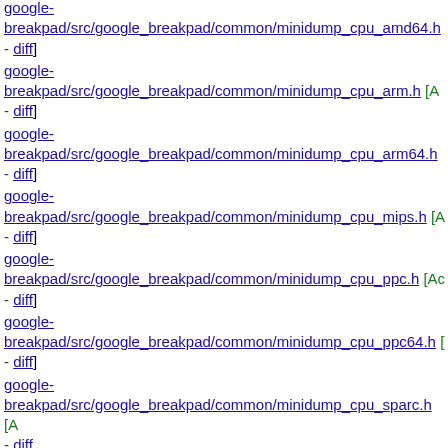diff] google-breakpad/src/google_breakpad/common/minidump_cpu_amd64.h - diff]
google-breakpad/src/google_breakpad/common/minidump_cpu_arm.h [Added - diff]
google-breakpad/src/google_breakpad/common/minidump_cpu_arm64.h - diff]
google-breakpad/src/google_breakpad/common/minidump_cpu_mips.h [Added - diff]
google-breakpad/src/google_breakpad/common/minidump_cpu_ppc.h [Added - diff]
google-breakpad/src/google_breakpad/common/minidump_cpu_ppc64.h - diff]
google-breakpad/src/google_breakpad/common/minidump_cpu_sparc.h [Added - diff]